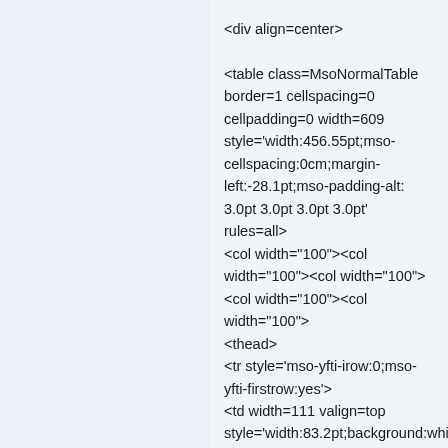<div align=center>

<table class=MsoNormalTable border=1 cellspacing=0 cellpadding=0 width=609 style='width:456.55pt;mso-cellspacing:0cm;margin-left:-28.1pt;mso-padding-alt:3.0pt 3.0pt 3.0pt 3.0pt' rules=all>
<col width="100"><col width="100"><col width="100">
<col width="100"><col width="100">
<thead>
<tr style='mso-yfti-irow:0;mso-yfti-firstrow:yes'>
<td width=111 valign=top style='width:83.2pt;background:whit 3.0pt 3.0pt 3.0pt'>
<p class=MsoNormal align=center style='margin:0cm;margin-